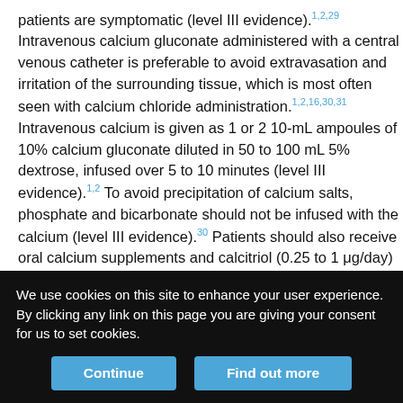patients are symptomatic (level III evidence).1,2,29 Intravenous calcium gluconate administered with a central venous catheter is preferable to avoid extravasation and irritation of the surrounding tissue, which is most often seen with calcium chloride administration.1,2,16,30,31 Intravenous calcium is given as 1 or 2 10-mL ampoules of 10% calcium gluconate diluted in 50 to 100 mL 5% dextrose, infused over 5 to 10 minutes (level III evidence).1,2 To avoid precipitation of calcium salts, phosphate and bicarbonate should not be infused with the calcium (level III evidence).30 Patients should also receive oral calcium supplements and calcitriol (0.25 to 1 μg/day) as needed (level III evidence).1 Magnesium deficiency or alkalosis should be corrected if present.2,16,18 Acutely, magnesium supplementation therapy will not elevate serum PTH or calcium, as
We use cookies on this site to enhance your user experience. By clicking any link on this page you are giving your consent for us to set cookies.